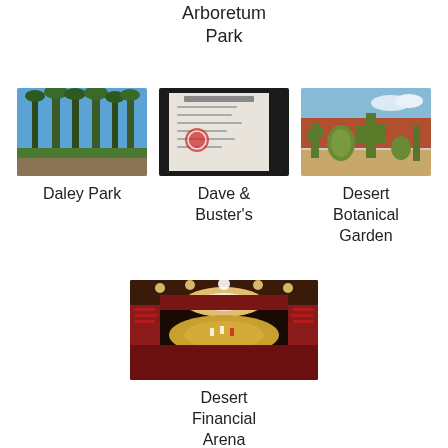Arboretum Park
[Figure (photo): Tall palm trees against a blue sky at Daley Park]
Daley Park
[Figure (photo): A document or certificate photo for Dave & Buster's]
Dave & Buster's
[Figure (photo): Cacti and desert plants at Desert Botanical Garden]
Desert Botanical Garden
[Figure (photo): Indoor arena with crowd and bright lights at Desert Financial Arena]
Desert Financial Arena